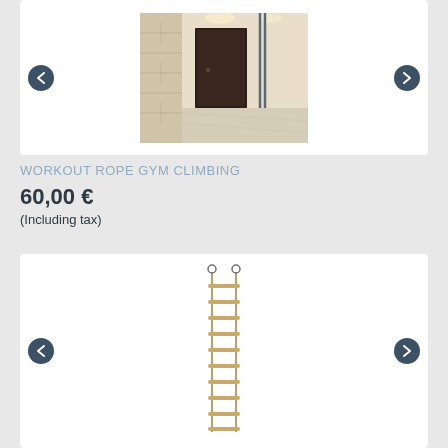[Figure (photo): Room interior photo showing a dark wooden door and rope climbing equipment mounted on the wall, light colored room with wooden floor]
WORKOUT ROPE GYM CLIMBING
60,00 €
(Including tax)
[Figure (photo): Product photo of a rope ladder with wooden rungs, hanging vertically with metal hooks at the top]